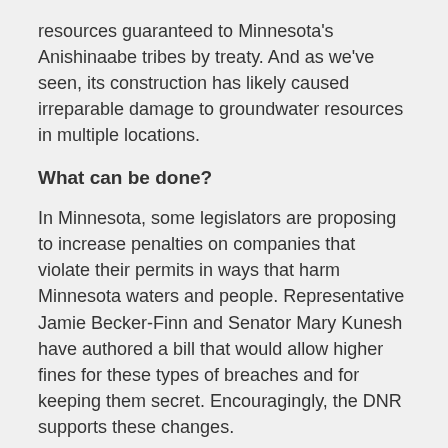resources guaranteed to Minnesota's Anishinaabe tribes by treaty. And as we've seen, its construction has likely caused irreparable damage to groundwater resources in multiple locations.
What can be done?
In Minnesota, some legislators are proposing to increase penalties on companies that violate their permits in ways that harm Minnesota waters and people. Representative Jamie Becker-Finn and Senator Mary Kunesh have authored a bill that would allow higher fines for these types of breaches and for keeping them secret. Encouragingly, the DNR supports these changes.
Meanwhile, another Enbridge pipeline project is taking shape to our east. Enbridge has proposed to reroute and expand a section of its Line 5 tar sands pipeline that runs through Wisconsin and Michigan through nearly 180 waterways that run into the Bad River Reservation